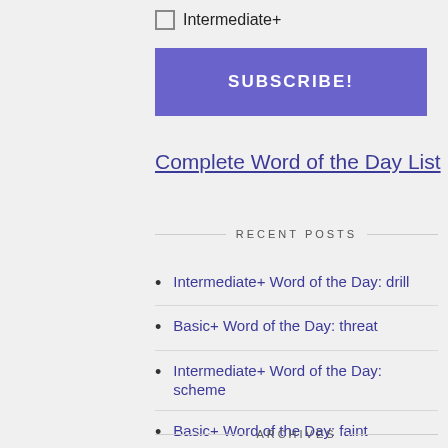Intermediate+
SUBSCRIBE!
Complete Word of the Day List
RECENT POSTS
Intermediate+ Word of the Day: drill
Basic+ Word of the Day: threat
Intermediate+ Word of the Day: scheme
Basic+ Word of the Day: faint
Intermediate+ Word of the Day: flip
ARCHIVES